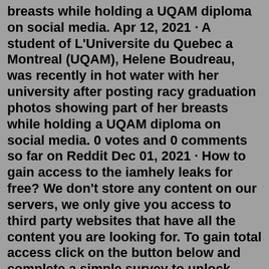breasts while holding a UQAM diploma on social media. Apr 12, 2021 · A student of L'Universite du Quebec a Montreal (UQAM), Helene Boudreau, was recently in hot water with her university after posting racy graduation photos showing part of her breasts while holding a UQAM diploma on social media. 0 votes and 0 comments so far on Reddit Dec 01, 2021 · How to gain access to the iamhely leaks for free? We don't store any content on our servers, we only give you access to third party websites that have all the content you are looking for. To gain total access click on the button below and complete a simple survey to unlock nudes, videos, photos and other premium files. Categories. Uncategorized. Jewcy OnlyFans leaks has 2464 views in last 12 hours. Available 20 Photos & 58 Videos Get fresh leaked photos & videos of Jewcy OnlyFans profile for free with just click on the button and simple human verification. Dec 25, 2021 · @iamhely I Instagram Iconic "UQAM girl," artist/art shop owner and OnlyFans content creator Killine Boudreau is one of the most popular female